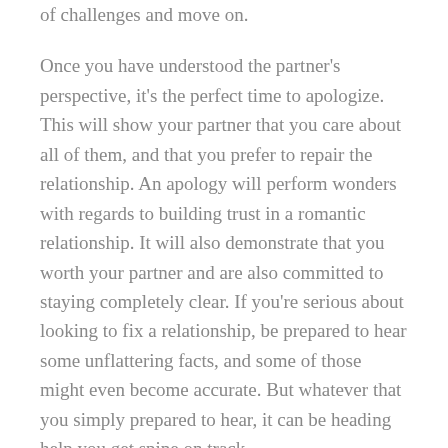of challenges and move on.
Once you have understood the partner's perspective, it's the perfect time to apologize. This will show your partner that you care about all of them, and that you prefer to repair the relationship. An apology will perform wonders with regards to building trust in a romantic relationship. It will also demonstrate that you worth your partner and are also committed to staying completely clear. If you're serious about looking to fix a relationship, be prepared to hear some unflattering facts, and some of those might even become accurate. But whatever that you simply prepared to hear, it can be heading help you get spine on track.
Currently taking time to discover how to repair someone is not going to mean compromising your self. Instead, it means bringing out their utmost qualities, leading them in direction of the happiness,